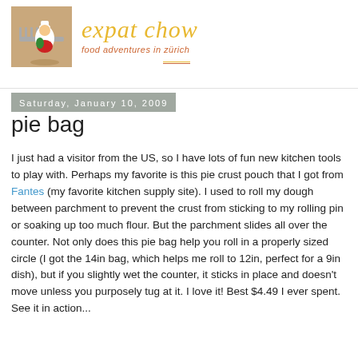[Figure (photo): A toy figurine (chef/cook character) on a fork, photographed on a wooden surface — blog logo image]
expat chow
food adventures in zürich
Saturday, January 10, 2009
pie bag
I just had a visitor from the US, so I have lots of fun new kitchen tools to play with. Perhaps my favorite is this pie crust pouch that I got from Fantes (my favorite kitchen supply site). I used to roll my dough between parchment to prevent the crust from sticking to my rolling pin or soaking up too much flour. But the parchment slides all over the counter. Not only does this pie bag help you roll in a properly sized circle (I got the 14in bag, which helps me roll to 12in, perfect for a 9in dish), but if you slightly wet the counter, it sticks in place and doesn't move unless you purposely tug at it. I love it! Best $4.49 I ever spent. See it in action...